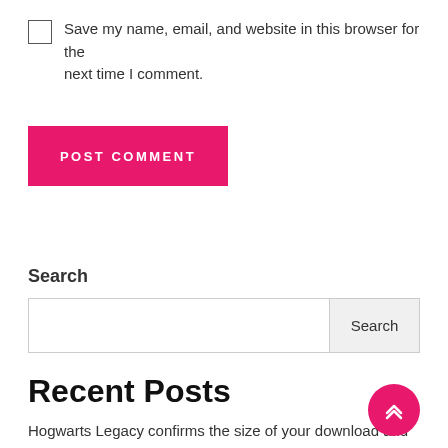Save my name, email, and website in this browser for the next time I comment.
POST COMMENT
Search
Recent Posts
Hogwarts Legacy confirms the size of your download and the